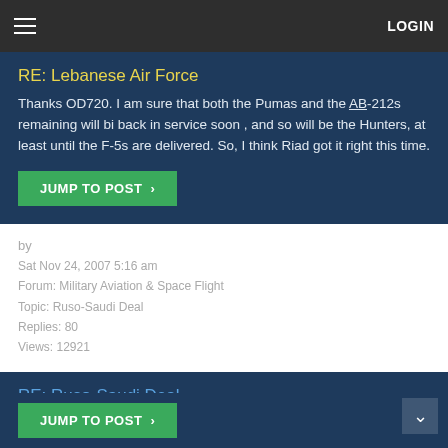LOGIN
RE: Lebanese Air Force
Thanks OD720. I am sure that both the Pumas and the AB-212s remaining will bi back in service soon , and so will be the Hunters, at least until the F-5s are delivered. So, I think Riad got it right this time.
JUMP TO POST >
by
Sat Nov 24, 2007 5:16 am
Forum: Military Aviation & Space Flight
Topic: Ruso-Saudi Deal
Replies: 80
Views: 12921
RE: Ruso-Saudi Deal
The Saudi-Russian deal seems to be back on again. In fact, it now looks like it has been on all along, despite all the attempts to deny it, or pour cold water on the reports which first spoke about it. What seems most likely to have happened was that the information about the contract, which most li...
JUMP TO POST >